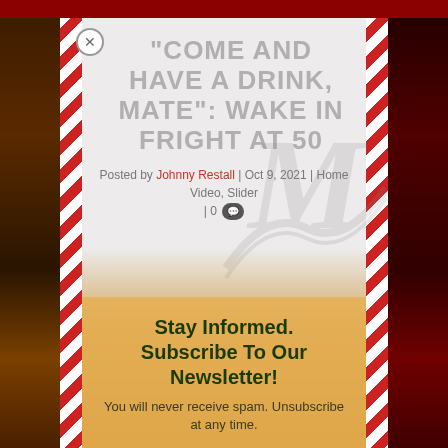"COME AND HAVE A DRINK, MATE": WAKE IN FRIGHT AT 50
Posted by Johnny Restall | Oct 9, 2021 | Home Video, Slider | 0
Stay Informed. Subscribe To Our Newsletter!
You will never receive spam. Unsubscribe at any time.